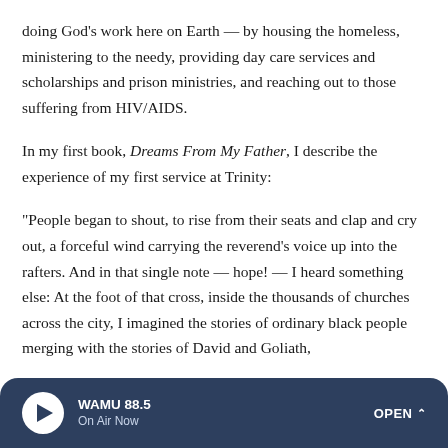doing God's work here on Earth — by housing the homeless, ministering to the needy, providing day care services and scholarships and prison ministries, and reaching out to those suffering from HIV/AIDS.
In my first book, Dreams From My Father, I describe the experience of my first service at Trinity:
"People began to shout, to rise from their seats and clap and cry out, a forceful wind carrying the reverend's voice up into the rafters. And in that single note — hope! — I heard something else: At the foot of that cross, inside the thousands of churches across the city, I imagined the stories of ordinary black people merging with the stories of David and Goliath,
WAMU 88.5 | On Air Now | OPEN